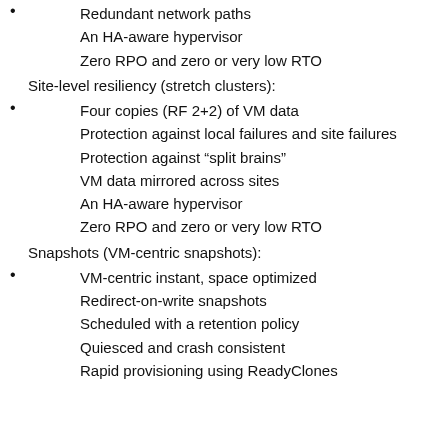Redundant network paths
An HA-aware hypervisor
Zero RPO and zero or very low RTO
Site-level resiliency (stretch clusters):
Four copies (RF 2+2) of VM data
Protection against local failures and site failures
Protection against “split brains”
VM data mirrored across sites
An HA-aware hypervisor
Zero RPO and zero or very low RTO
Snapshots (VM-centric snapshots):
VM-centric instant, space optimized
Redirect-on-write snapshots
Scheduled with a retention policy
Quiesced and crash consistent
Rapid provisioning using ReadyClones